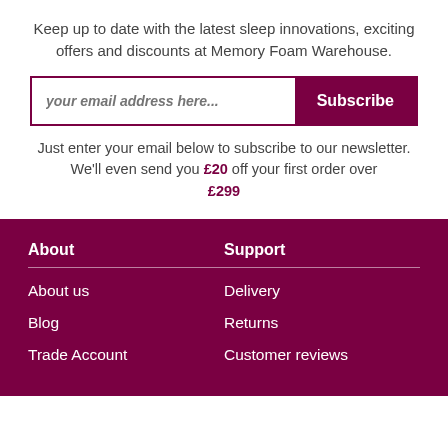Keep up to date with the latest sleep innovations, exciting offers and discounts at Memory Foam Warehouse.
your email address here...  Subscribe
Just enter your email below to subscribe to our newsletter. We'll even send you £20 off your first order over £299
About
About us
Blog
Trade Account
Support
Delivery
Returns
Customer reviews